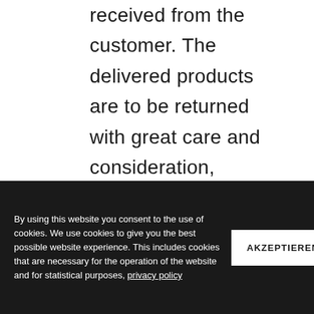received from the customer. The delivered products are to be returned with great care and consideration, undamaged with the label intact. LEPOSA can claim compensation if the returned goods are soiled or damaged. If the goods
By using this website you consent to the use of cookies. We use cookies to give you the best possible website experience. This includes cookies that are necessary for the operation of the website and for statistical purposes, privacy policy
AKZEPTIEREN